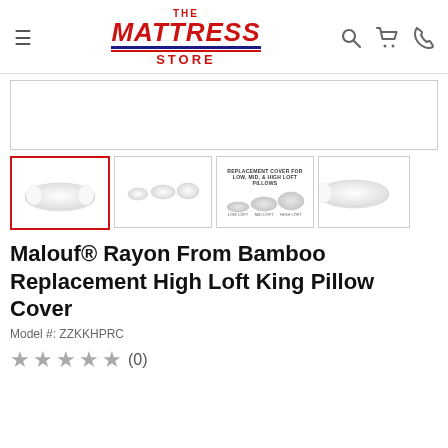[Figure (logo): The Mattress Store logo with hamburger menu icon and search, cart, phone icons]
[Figure (photo): Main product image area (mostly white/blank)]
[Figure (photo): Thumbnail 1 (selected): White pillow product photo with red border]
[Figure (photo): Thumbnail 2: Three pillow shapes side by side]
[Figure (photo): Thumbnail 3: Replacement cover diagram with text REPLACEMENT COVER FOR LOW, MID, & HIGH LOFT PILLOWS and three pillow silhouettes labeled LOW LOFT, MID LOFT, HIGH LOFT]
[Figure (photo): Thumbnail 4 (partial): White pillow product photo]
Malouf® Rayon From Bamboo Replacement High Loft King Pillow Cover
Model #: ZZKKHPRC
★★★★★ (0)